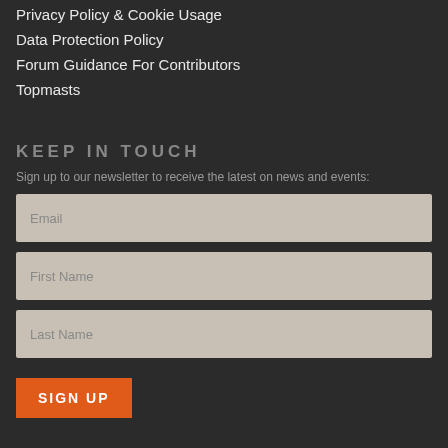Privacy Policy & Cookie Usage
Data Protection Policy
Forum Guidance For Contributors
Topmasts
KEEP IN TOUCH
Sign up to our newsletter to receive the latest on news and events:
Email
First Name
Last Name
SIGN UP